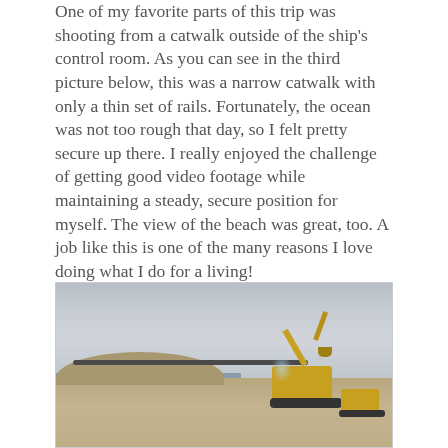One of my favorite parts of this trip was shooting from a catwalk outside of the ship's control room. As you can see in the third picture below, this was a narrow catwalk with only a thin set of rails. Fortunately, the ocean was not too rough that day, so I felt pretty secure up there. I really enjoyed the challenge of getting good video footage while maintaining a steady, secure position for myself. The view of the beach was great, too. A job like this is one of the many reasons I love doing what I do for a living!
[Figure (photo): Beach scene with a large yellow excavator/crane on sandy beach, a large pipe running across the sand, overcast sky, and ocean visible in the background. A second smaller excavator is visible on the right side.]